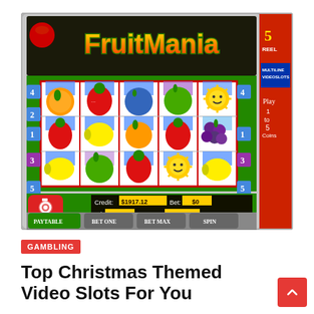[Figure (screenshot): Screenshot of FruitMania slot machine game showing 5-reel video slot with fruit symbols (orange, strawberry, blue plum, green apple, sun, lemon, grapes), credit display showing $1917.12, Bet $0, Win $0, Line Bet $0.25, with PAYTABLE, BET ONE, BET MAX, SPIN buttons at bottom and a camera icon overlay.]
GAMBLING
Top Christmas Themed Video Slots For You